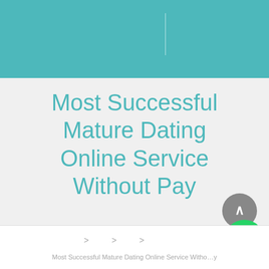[Figure (other): Teal/turquoise header banner with a faint vertical divider line]
Most Successful Mature Dating Online Service Without Pay
[Figure (other): Grey circular scroll-to-top button with upward chevron, and green WhatsApp circular button]
> > > Most Successful Mature Dating Online Service Witho…y